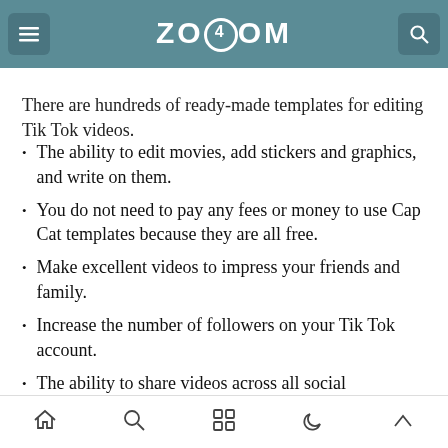ZOOOM
editing applications.
There are hundreds of ready-made templates for editing Tik Tok videos.
The ability to edit movies, add stickers and graphics, and write on them.
You do not need to pay any fees or money to use Cap Cat templates because they are all free.
Make excellent videos to impress your friends and family.
Increase the number of followers on your Tik Tok account.
The ability to share videos across all social